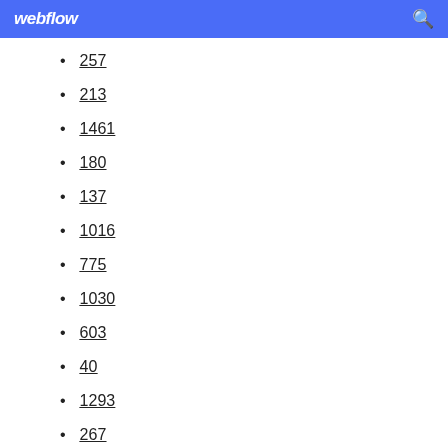webflow
257
213
1461
180
137
1016
775
1030
603
40
1293
267